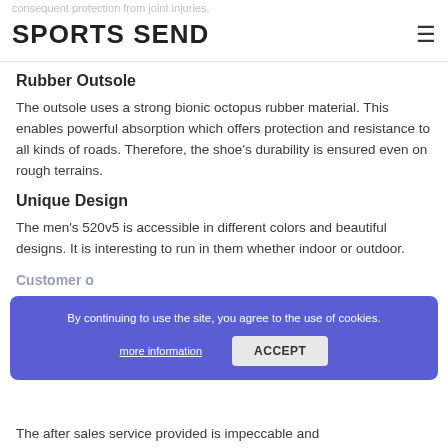SPORTS SEND
Rubber Outsole
The outsole uses a strong bionic octopus rubber material. This enables powerful absorption which offers protection and resistance to all kinds of roads. Therefore, the shoe's durability is ensured even on rough terrains.
Unique Design
The men's 520v5 is accessible in different colors and beautiful designs. It is interesting to run in them whether indoor or outdoor.
Customer o...
By continuing to use the site, you agree to the use of cookies.
The after sales service provided is impeccable and